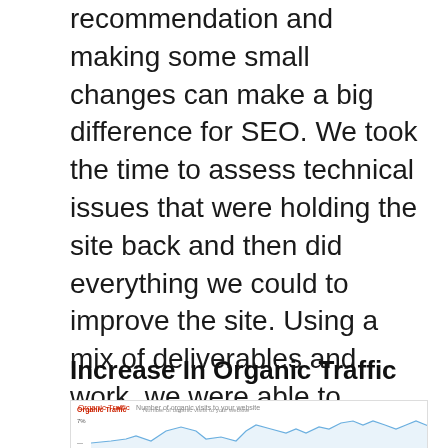recommendation and making some small changes can make a big difference for SEO. We took the time to assess technical issues that were holding the site back and then did everything we could to improve the site. Using a mix of deliverables and work, we were able to successfully create a long term digital marketing strategy that actually helped our client.
Increase In Organic Traffic
[Figure (continuous-plot): Organic Traffic line chart showing number of organic visits to the website over time, with a small upward-trending area chart in red/orange tones, partially visible at the bottom of the page.]